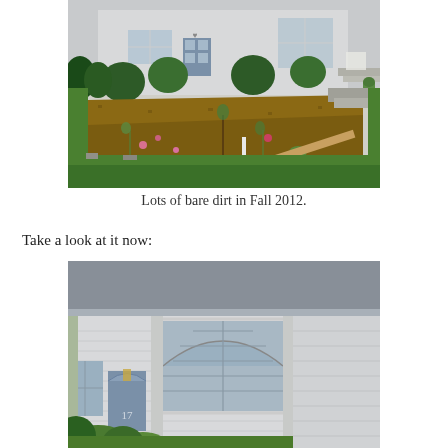[Figure (photo): Front yard of a house showing a large bare dirt garden bed with sparse plants, green lawn grass surrounding it, and a white house with blue front door and steps in the background. A wooden board is visible in the garden. Taken in Fall 2012.]
Lots of bare dirt in Fall 2012.
Take a look at it now:
[Figure (photo): Exterior of a white house with blue front door, arched decorative window above a large grid-paned window, grey roof, and green foliage visible at the bottom. The current state of the landscaping around the house.]